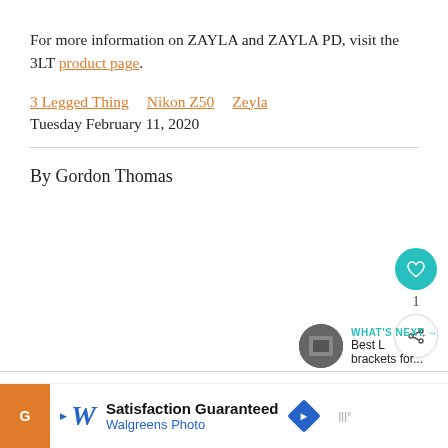For more information on ZAYLA and ZAYLA PD, visit the 3LT product page.
3 Legged Thing   Nikon Z50   Zeyla
Tuesday February 11, 2020
By Gordon Thomas
[Figure (other): Like button (heart icon) in teal circle, count of 1, and share button]
[Figure (other): What's Next thumbnail with label 'WHAT'S NEXT →' and text 'Best L brackets for...']
[Figure (other): Advertisement banner: Satisfaction Guaranteed - Walgreens Photo]